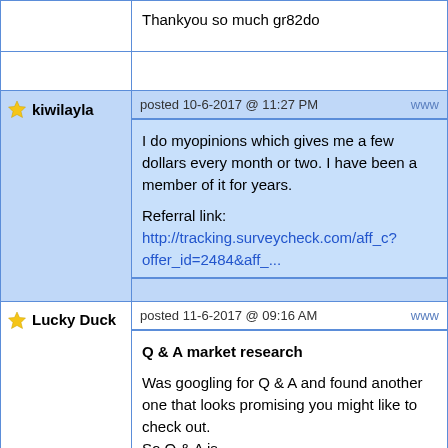Thankyou so much gr82do
posted 10-6-2017 @ 11:27 PM   www
kiwilayla
I do myopinions which gives me a few dollars every month or two. I have been a member of it for years.

Referral link: http://tracking.surveycheck.com/aff_c?offer_id=2484&aff_...
posted 11-6-2017 @ 09:16 AM   www
Lucky Duck
Q & A market research

Was googling for Q & A and found another one that looks promising you might like to check out.
So Q & A is

https://qandaresearch.com.au/

and the other one is
http://join.au.surveycompare.net